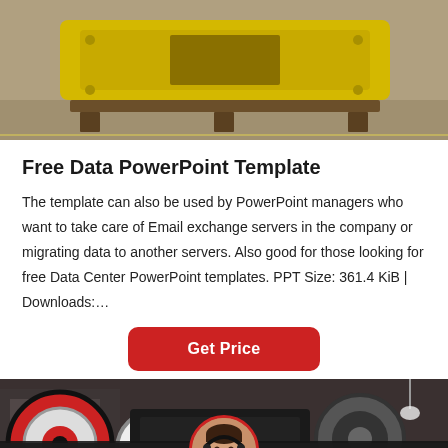[Figure (photo): Yellow industrial crusher/machine on a wooden pallet in a warehouse or yard setting]
Free Data PowerPoint Template
The template can also be used by PowerPoint managers who want to take care of Email exchange servers in the company or migrating data to another servers. Also good for those looking for free Data Center PowerPoint templates. PPT Size: 361.4 KiB | Downloads:…
Get Price
[Figure (photo): Industrial machinery with large red and white wheels/rollers in a factory setting, with a customer service chat bar overlay at the bottom showing Leave Message and Chat Online options]